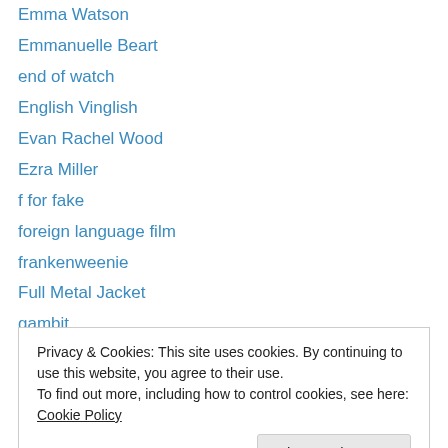Emma Watson
Emmanuelle Beart
end of watch
English Vinglish
Evan Rachel Wood
Ezra Miller
f for fake
foreign language film
frankenweenie
Full Metal Jacket
gambit
garrett hedlund
Girl with a Pearl Earring
Privacy & Cookies: This site uses cookies. By continuing to use this website, you agree to their use. To find out more, including how to control cookies, see here: Cookie Policy
Happy Happy